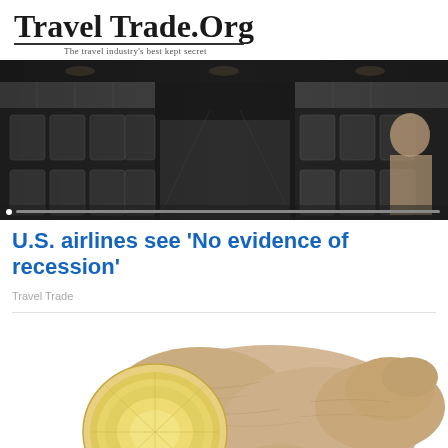Travel Trade.Org — The travel industry's best kept secret
[Figure (photo): Interior of an airplane cabin showing rows of seats with passengers, dark moody lighting, slider with dots at bottom]
U.S. airlines see 'No evidence of recession'
Travel Trade
[Figure (photo): Close-up photo of fresh ginger root with a sliced cross-section showing yellow interior, on white background]